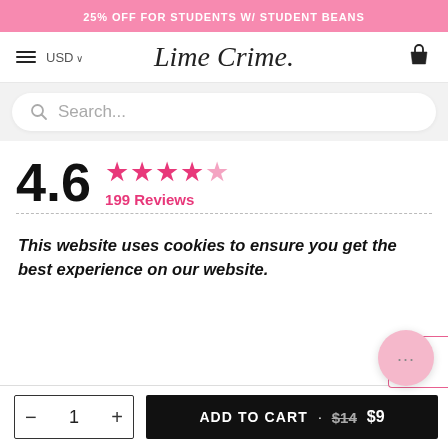25% OFF FOR STUDENTS W/ STUDENT BEANS
USD  Lime Crime.
Search...
4.6  ★★★★☆  199 Reviews
This website uses cookies to ensure you get the best experience on our website.
— 1 +   ADD TO CART · $14  $9